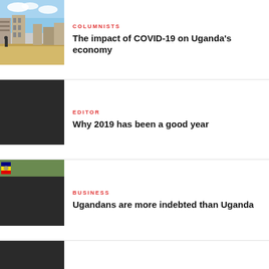[Figure (photo): Street scene with buildings and sandy road, clear sky]
COLUMNISTS
The impact of COVID-19 on Uganda's economy
EDITOR
Why 2019 has been a good year
[Figure (photo): Small thumbnail showing flag or green image]
BUSINESS
Ugandans are more indebted than Uganda
COLUMNISTS
Why Ugandan women have many children
[Figure (photo): Partial view of a woven basket or hat at the bottom of the page]